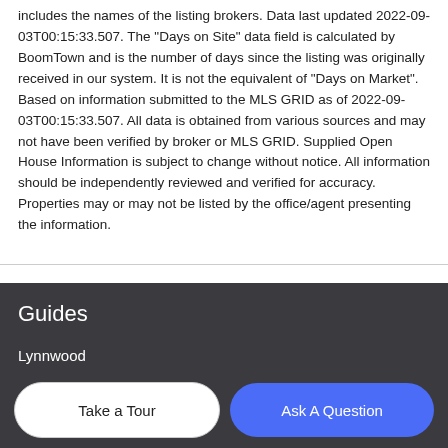includes the names of the listing brokers. Data last updated 2022-09-03T00:15:33.507. The "Days on Site" data field is calculated by BoomTown and is the number of days since the listing was originally received in our system. It is not the equivalent of "Days on Market". Based on information submitted to the MLS GRID as of 2022-09-03T00:15:33.507. All data is obtained from various sources and may not have been verified by broker or MLS GRID. Supplied Open House Information is subject to change without notice. All information should be independently reviewed and verified for accuracy. Properties may or may not be listed by the office/agent presenting the information.
Guides
Lynnwood
Edmonds
Mukilteo
Everett